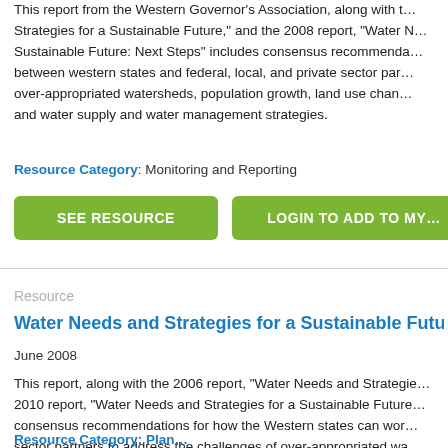This report from the Western Governor's Association, along with the Strategies for a Sustainable Future," and the 2008 report, "Water N... Sustainable Future: Next Steps" includes consensus recommenda... between western states and federal, local, and private sector par... over-appropriated watersheds, population growth, land use chan... and water supply and water management strategies.
Resource Category: Monitoring and Reporting
SEE RESOURCE
LOGIN TO ADD TO MY
Resource
Water Needs and Strategies for a Sustainable Futu...
June 2008
This report, along with the 2006 report, "Water Needs and Strategie... 2010 report, "Water Needs and Strategies for a Sustainable Future... consensus recommendations for how the Western states can wor... sector partners to address the challenges of over-appropriated wa... use changes, water needs for in-stream uses, and of water supply... general.
Resource Category: Planning